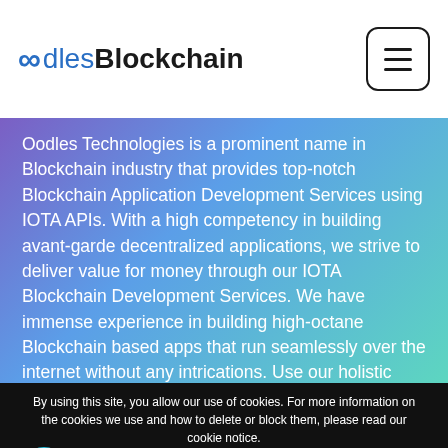OodlesBlockchain
Oodles Technologies is a prominent name in Blockchain industry that provides top-notch Blockchain Application Development Services using IOTA APIs. With a high competency in building avant-garde decentralized applications, we strive to deliver value for money through our IOTA Blockchain Development Services. We have immense experience in building high-octane Blockchain based apps that run seamlessly over the internet without any intrications. Use our holistic Blockchain web and mobile solutions for an end to
By using this site, you allow our use of cookies. For more information on the cookies we use and how to delete or block them, please read our cookie notice.